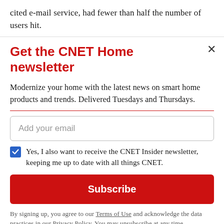cited e-mail service, had fewer than half the number of users hit.
Get the CNET Home newsletter
Modernize your home with the latest news on smart home products and trends. Delivered Tuesdays and Thursdays.
Add your email
Yes, I also want to receive the CNET Insider newsletter, keeping me up to date with all things CNET.
Subscribe
By signing up, you agree to our Terms of Use and acknowledge the data practices in our Privacy Policy. You may unsubscribe at any time.